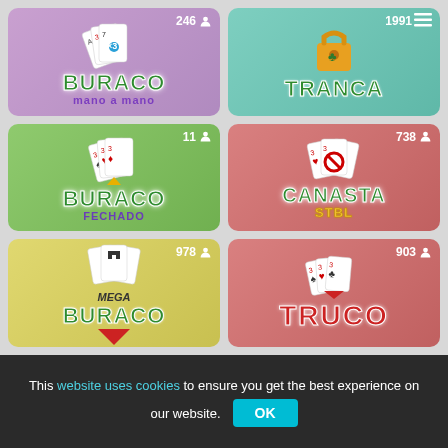[Figure (screenshot): Game lobby showing 6 card game tiles: Buraco Mano a Mano (246 players), Tranca (1991 players), Buraco Fechado (11 players), Canasta STBL (738 players), Mega Buraco (978 players), Truco (903 players), with a cookie consent banner at the bottom.]